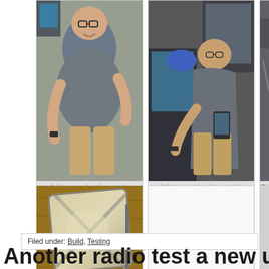[Figure (photo): Adrian manning the controls - left photo]
Adrian manning the contols
[Figure (photo): Adrian manning the controls - center photo]
Adrian manning the controls
[Figure (photo): Through-w... (partially visible photo)]
Through-w
[Figure (photo): Radar reflector - metallic square reflector on wooden surface]
Radar reflector
[Figure (photo): BOM radiosonde - white/blank image]
BOM radiosonde
[Figure (photo): Analogue (left...) - partially visible]
Analogue (lef
Filed under: Build, Testing
Another radio test a new uri...